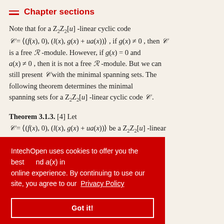Chapter sections
Note that for a Z₂Z₂[u] -linear cyclic code 𝒞 = ⟨(f(x), 0), (l(x), g(x) + ua(x))⟩ , if g(x) ≠ 0 , then 𝒞 is a free ℛ -module. However, if g(x) = 0 and a(x) ≠ 0 , then it is not a free ℛ -module. But we can still present 𝒞 with the minimal spanning sets. The following theorem determines the minimal spanning sets for a Z₂Z₂[u] -linear cyclic code 𝒞.
Theorem 3.1.3. [4] Let 𝒞 = ⟨(f(x), 0), (l(x), g(x) + ua(x))⟩ be a Z₂Z₂[u] -linear ... nd a(x) in
IntechOpen uses cookies to offer you the best online experience. By continuing to use our site, you agree to our Privacy Policy
Got it!